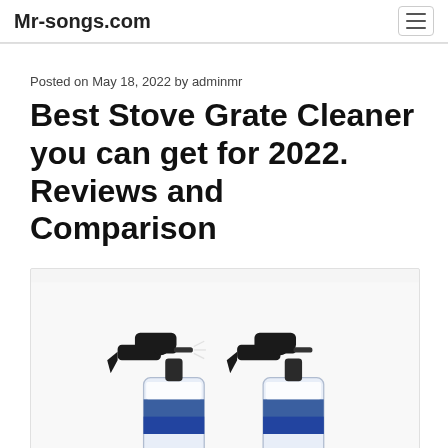Mr-songs.com
Posted on May 18, 2022 by adminmr
Best Stove Grate Cleaner you can get for 2022. Reviews and Comparison
[Figure (photo): Two spray bottles of stove grate cleaner with black trigger sprayers and blue/white labels, photographed from above on a white background]